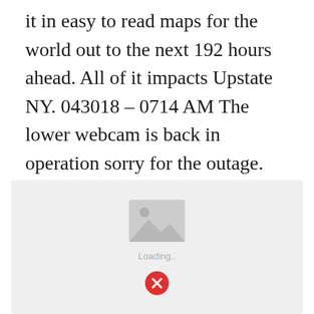it in easy to read maps for the world out to the next 192 hours ahead. All of it impacts Upstate NY. 043018 - 0714 AM The lower webcam is back in operation sorry for the outage. Online services and Apps available for iPhone iPad and Android.
[Figure (photo): Image placeholder showing a mountain/landscape icon with 'Loading..' text below it and a red error (X) button beneath that, set against a light grey background.]